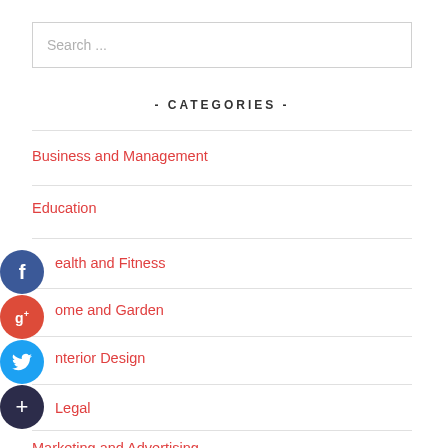Search ...
- CATEGORIES -
Business and Management
Education
Health and Fitness
Home and Garden
Interior Design
Legal
Marketing and Advertising